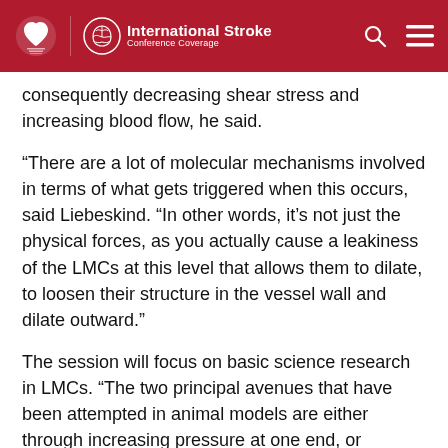International Stroke Conference Coverage
consequently decreasing shear stress and increasing blood flow, he said.
“There are a lot of molecular mechanisms involved in terms of what gets triggered when this occurs, said Liebeskind. “In other words, it’s not just the physical forces, as you actually cause a leakiness of the LMCs at this level that allows them to dilate, to loosen their structure in the vessel wall and dilate outward.”
The session will focus on basic science research in LMCs. “The two principal avenues that have been attempted in animal models are either through increasing pressure at one end, or alternatively, attempting to dilate those blood vessels,” said Liebeskind.